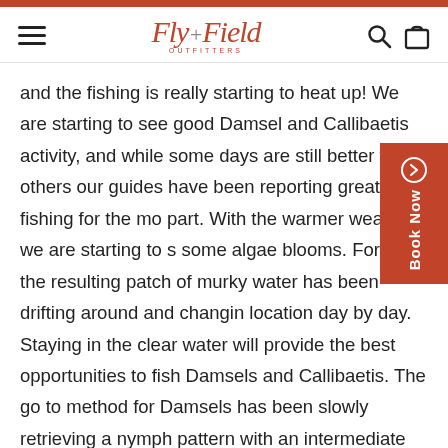Fly + Field Outfitters
and the fishing is really starting to heat up! We are starting to see good Damsel and Callibaetis activity, and while some days are still better than others our guides have been reporting great fishing for the most part. With the warmer weather we are starting to see some algae blooms. For now the resulting patch of murky water has been drifting around and changing location day by day. Staying in the clear water will provide the best opportunities to fish Damsels and Callibaetis. The go to method for Damsels has been slowly retrieving a nymph pattern with an intermediate line, we recommend having either a Rio